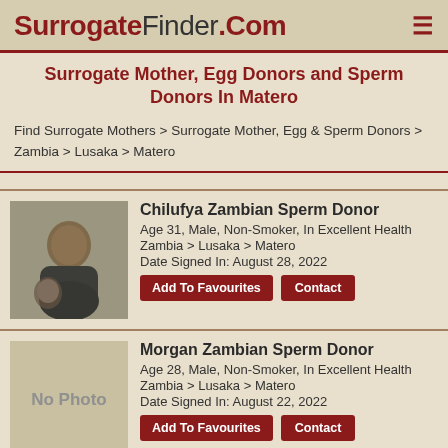SurrogateFinder.Com
Surrogate Mother, Egg Donors and Sperm Donors In Matero
Find Surrogate Mothers > Surrogate Mother, Egg & Sperm Donors > Zambia > Lusaka > Matero
Chilufya Zambian Sperm Donor
Age 31, Male, Non-Smoker, In Excellent Health
Zambia > Lusaka > Matero
Date Signed In: August 28, 2022
Morgan Zambian Sperm Donor
Age 28, Male, Non-Smoker, In Excellent Health
Zambia > Lusaka > Matero
Date Signed In: August 22, 2022